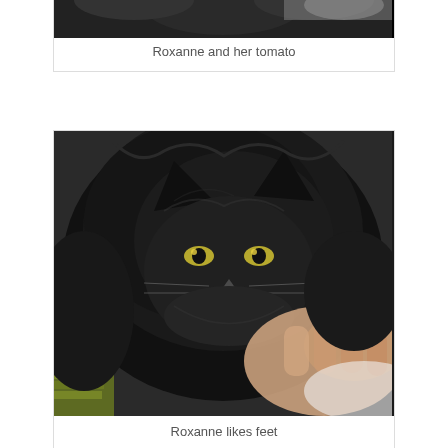[Figure (photo): Partial photo of a black cat with a tomato, cropped at top of page]
Roxanne and her tomato
[Figure (photo): Close-up photo of a fluffy black cat with yellow-green eyes being held by a person's hand]
Roxanne likes feet